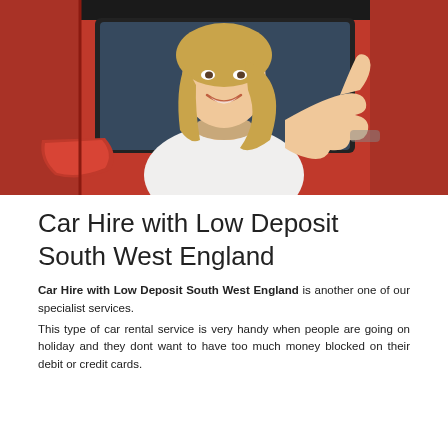[Figure (photo): Woman sitting in a red car, leaning out the window with a thumbs up gesture, smiling. Red car door and mirror visible in foreground.]
Car Hire with Low Deposit South West England
Car Hire with Low Deposit South West England is another one of our specialist services.
This type of car rental service is very handy when people are going on holiday and they dont want to have too much money blocked on their debit or credit cards.